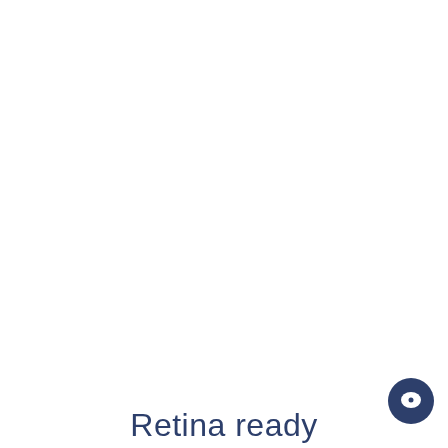[Figure (illustration): Chat/support button icon — dark navy blue circle with a white speech bubble/chat icon in the center, positioned in the bottom-right area of the page]
Retina ready